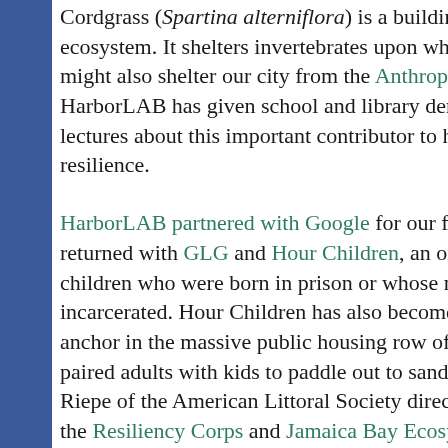Cordgrass (Spartina alterniflora) is a building block of the ecosystem. It shelters invertebrates upon which... might also shelter our city from the Anthropocene... HarborLAB has given school and library demonstrations and lectures about this important contributor to harbor resilience.
HarborLAB partnered with Google for our first... returned with GLG and Hour Children, an organization supporting children who were born in prison or whose mothers were incarcerated. Hour Children has also become a community anchor in the massive public housing row of... paired adults with kids to paddle out to sandy... Riepe of the American Littoral Society directed... the Resiliency Corps and Jamaica Bay Ecosystem...